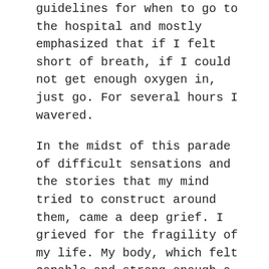guidelines for when to go to the hospital and mostly emphasized that if I felt short of breath, if I could not get enough oxygen in, just go. For several hours I wavered.
In the midst of this parade of difficult sensations and the stories that my mind tried to construct around them, came a deep grief. I grieved for the fragility of my life. My body, which felt capable and strong enough a few days before, now felt completely contingent on these rickety-feeling lungs. I was a few failed breaths away from total incapacity, and I felt that my lungs could fail me at any time. (Right now, as I write these words on Day 11, I can still feel weight, heaviness, difficulty in my lungs. It is a sobering sensation.)